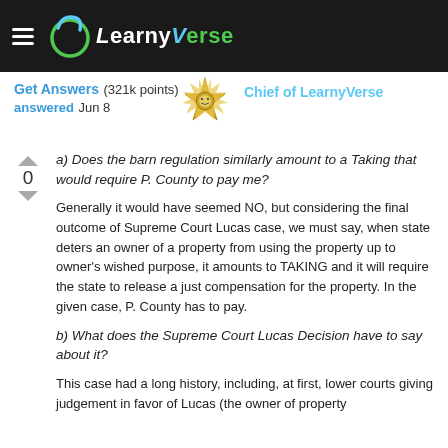LearnyVerse
Get Answers (321k points) answered Jun 8   Chief of LearnyVerse
a) Does the barn regulation similarly amount to a Taking that would require P. County to pay me?
Generally it would have seemed NO, but considering the final outcome of Supreme Court Lucas case, we must say, when state deters an owner of a property from using the property up to owner's wished purpose, it amounts to TAKING and it will require the state to release a just compensation for the property. In the given case, P. County has to pay.
b) What does the Supreme Court Lucas Decision have to say about it?
This case had a long history, including, at first, lower courts giving judgement in favor of Lucas (the owner of property